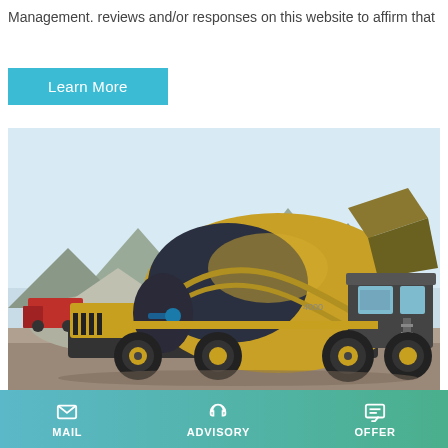Management. reviews and/or responses on this website to affirm that
Learn More
[Figure (photo): A yellow self-loading concrete mixer truck parked on a construction site with mountains in the background.]
Andrews Equipment | Jessup, MD
MAIL  ADVISORY  OFFER